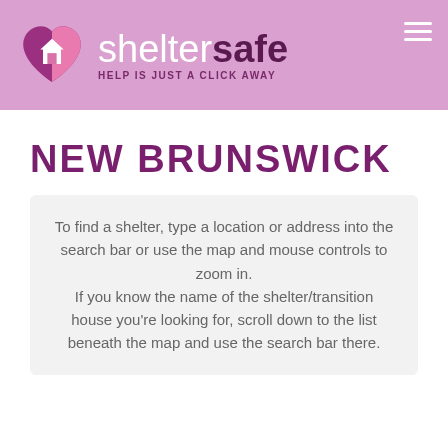[Figure (logo): ShelterSafe logo with heart icon containing a house silhouette, text 'sheltersafe' and tagline 'HELP IS JUST A CLICK AWAY' on a pink/mauve header bar]
NEW BRUNSWICK
To find a shelter, type a location or address into the search bar or use the map and mouse controls to zoom in.
If you know the name of the shelter/transition house you're looking for, scroll down to the list beneath the map and use the search bar there.